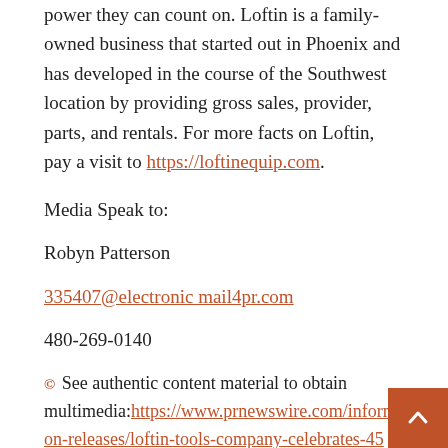power they can count on. Loftin is a family-owned business that started out in Phoenix and has developed in the course of the Southwest location by providing gross sales, provider, parts, and rentals. For more facts on Loftin, pay a visit to https://loftinequip.com.
Media Speak to:
Robyn Patterson
335407@electronic mail4pr.com
480-269-0140
© See authentic content material to obtain multimedia: https://www.prnewswire.com/information-releases/loftin-tools-company-celebrates-45-long-time-in-company-301537602.html